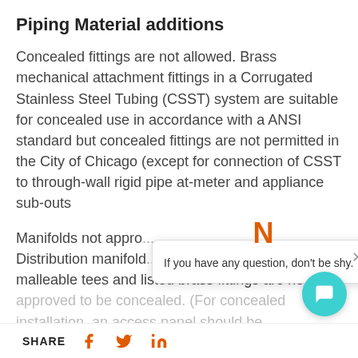Piping Material additions
Concealed fittings are not allowed. Brass mechanical attachment fittings in a Corrugated Stainless Steel Tubing (CSST) system are suitable for concealed use in accordance with a ANSI standard but concealed fittings are not permitted in the City of Chicago (except for connection of CSST to through-wall rigid pipe at-meter and appliance sub-outs
Manifolds not appro... Distribution manifold... comprising... malleable tees and listed brass fittings are not approved to be concealed. (For concealed installation, an access panel should be...